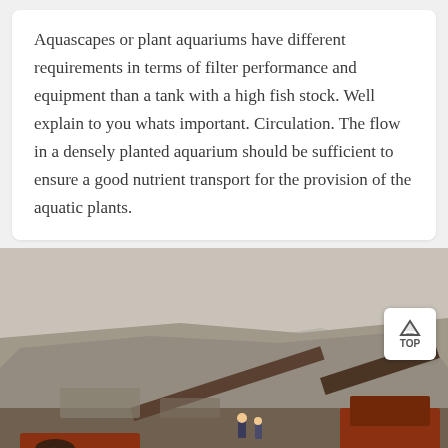Aquascapes or plant aquariums have different requirements in terms of filter performance and equipment than a tank with a high fish stock. Well explain to you whats important. Circulation. The flow in a densely planted aquarium should be sufficient to ensure a good nutrient transport for the provision of the aquatic plants.
[Figure (photo): Photograph of a quarry or mining site with heavy machinery (red crusher equipment), rocky terrain, hillside, and workers visible. An orange message/chat bar is overlaid at the bottom with a person (customer service representative) on the left. A TOP navigation button appears in the upper right of the image.]